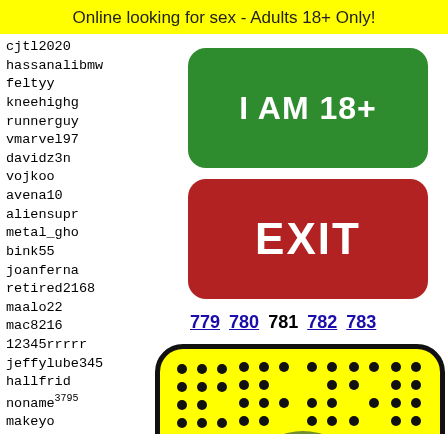Online looking for sex - Adults 18+ Only!
cjtl2020
hassanalibmw
feltyy
kneehighg
runnerguy
vmarvel97
davidz3n
vojkoo
avena10
aliensupr
metal_gho
bink55
joanferna
retired2168
maalo22
mac8216
12345rrrrr
jeffylube345
hallfrid
noname3795
makeyo
my6inh
jdstro
gagadd
rached
isabel
[Figure (illustration): Green 'I AM 18+' button and red 'EXIT' button, with pagination links 779 780 781 782 783, and a yellow smiley/emoji face panel at bottom.]